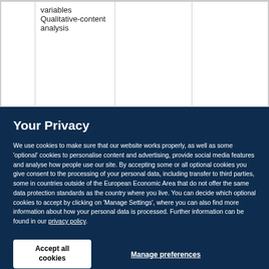|  | variables Qualitative-content analysis |  |  |
Your Privacy
We use cookies to make sure that our website works properly, as well as some ‘optional’ cookies to personalise content and advertising, provide social media features and analyse how people use our site. By accepting some or all optional cookies you give consent to the processing of your personal data, including transfer to third parties, some in countries outside of the European Economic Area that do not offer the same data protection standards as the country where you live. You can decide which optional cookies to accept by clicking on ‘Manage Settings’, where you can also find more information about how your personal data is processed. Further information can be found in our privacy policy.
Accept all cookies
Manage preferences